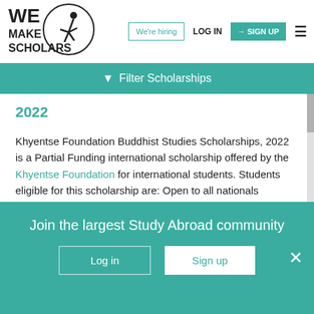[Figure (logo): We Make Scholars logo with stylized figure and text]
We're hiring | LOG IN | SIGN UP
Filter Scholarships
2022
Khyentse Foundation Buddhist Studies Scholarships, 2022 is a Partial Funding international scholarship offered by the Khyentse Foundation for international students. Students eligible for this scholarship are: Open to all nationals
This Masters, PhD scholarship can be taken for pursuing in Buddhist study and practice. 15 Jul is the
Join the largest Study Abroad community
Log in
Sign up